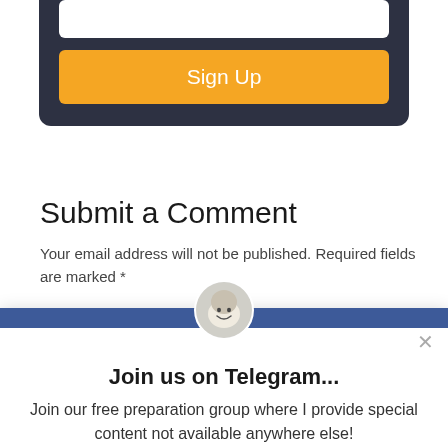[Figure (screenshot): Top dark card with input field and Sign Up button on dark navy background]
Submit a Comment
Your email address will not be published. Required fields are marked *
[Figure (infographic): Popup overlay with blue header bar, avatar mascot, close button, Telegram join message and button]
Join us on Telegram...
Join our free preparation group where I provide special content not available anywhere else!
[Figure (screenshot): Telegram button in blue]